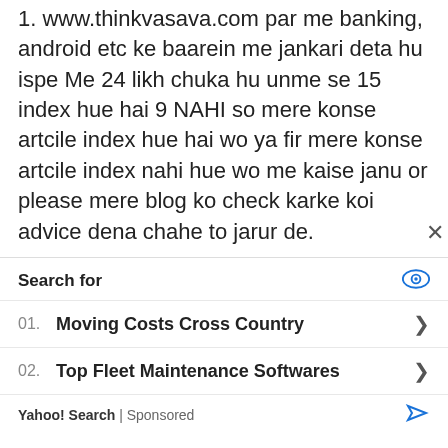1. www.thinkvasava.com par me banking, android etc ke baarein me jankari deta hu ispe Me 24 likh chuka hu unme se 15 index hue hai 9 NAHI so mere konse artcile index hue hai wo ya fir mere konse artcile index nahi hue wo me kaise janu or please mere blog ko check karke koi advice dena chahe to jarur de.
Reply
Search for
01. Moving Costs Cross Country
02. Top Fleet Maintenance Softwares
Yahoo! Search | Sponsored